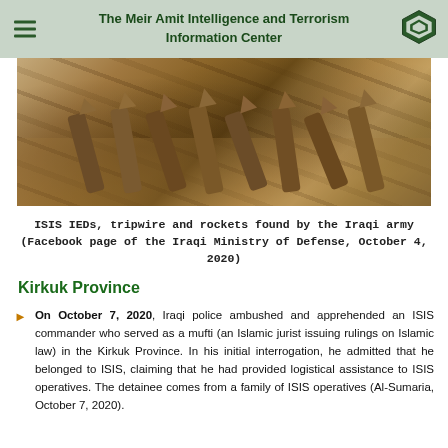The Meir Amit Intelligence and Terrorism Information Center
[Figure (photo): Close-up photograph of ISIS IEDs, tripwire and rockets partially buried in sandy soil, found by the Iraqi army.]
ISIS IEDs, tripwire and rockets found by the Iraqi army (Facebook page of the Iraqi Ministry of Defense, October 4, 2020)
Kirkuk Province
On October 7, 2020, Iraqi police ambushed and apprehended an ISIS commander who served as a mufti (an Islamic jurist issuing rulings on Islamic law) in the Kirkuk Province. In his initial interrogation, he admitted that he belonged to ISIS, claiming that he had provided logistical assistance to ISIS operatives. The detainee comes from a family of ISIS operatives (Al-Sumaria, October 7, 2020).